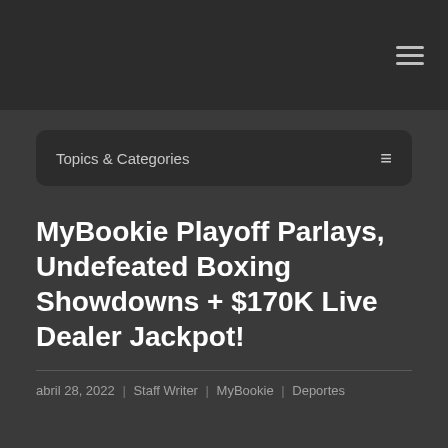≡
Topics & Categories
MyBookie Playoff Parlays, Undefeated Boxing Showdowns + $170K Live Dealer Jackpot!
abril 28, 2022 | Staff Writer | MyBookie | Deportes